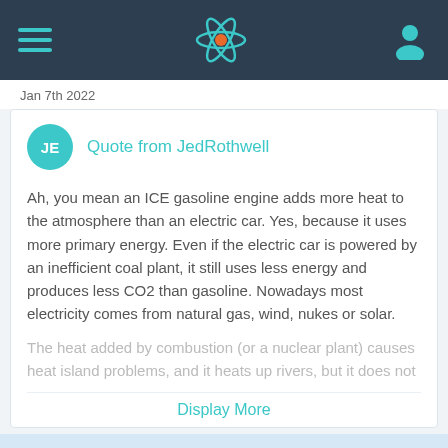Navigation bar with hamburger menu, atom logo, and user icon
Jan 7th 2022
Quote from JedRothwell
Ah, you mean an ICE gasoline engine adds more heat to the atmosphere than an electric car. Yes, because it uses more primary energy. Even if the electric car is powered by an inefficient coal plant, it still uses less energy and produces less CO2 than gasoline. Nowadays most electricity comes from natural gas, wind, nukes or solar.
The heat added by combustion (or a nuclear plant) causes heat island problems, and it heats up rivers, but it does not
Display More
This site uses cookies. By continuing to browse this site, you are agreeing to our use of cookies.